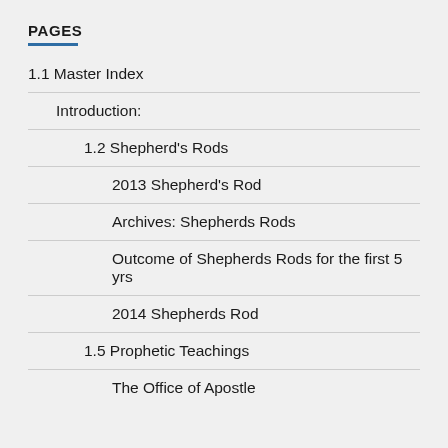PAGES
1.1 Master Index
Introduction:
1.2 Shepherd's Rods
2013 Shepherd's Rod
Archives: Shepherds Rods
Outcome of Shepherds Rods for the first 5 yrs
2014 Shepherds Rod
1.5 Prophetic Teachings
The Office of Apostle